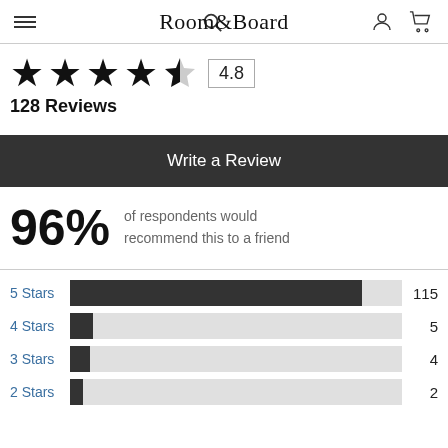Room&Board
[Figure (other): Star rating display showing 4.5 out of 5 stars (4 filled stars and 1 half star) with rating box showing 4.8]
128 Reviews
Write a Review
96% of respondents would recommend this to a friend
[Figure (bar-chart): Star rating distribution]